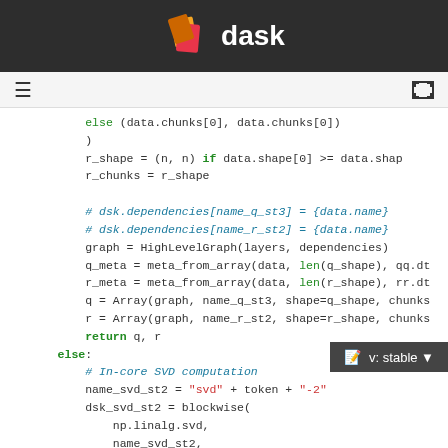[Figure (logo): Dask documentation logo with orange/red layered pages icon and white 'dask' text on dark background]
≡  navigation hamburger and expand icon
Code snippet showing Python dask SVD computation including else/return keywords, comments, graph construction, Array calls, and blockwise SVD setup